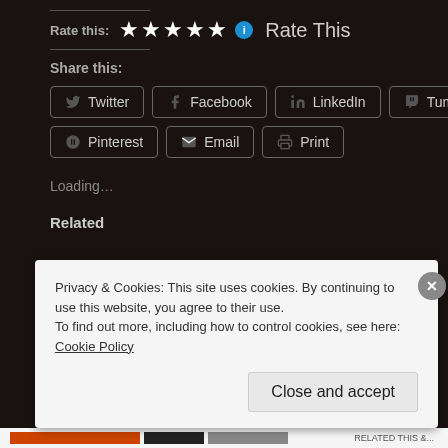Rate this:
★★★★★ Rate This
Share this:
Twitter
Facebook
LinkedIn
Tumblr
Pinterest
Email
Print
Loading...
Related
Privacy & Cookies: This site uses cookies. By continuing to use this website, you agree to their use.
To find out more, including how to control cookies, see here: Cookie Policy
Close and accept